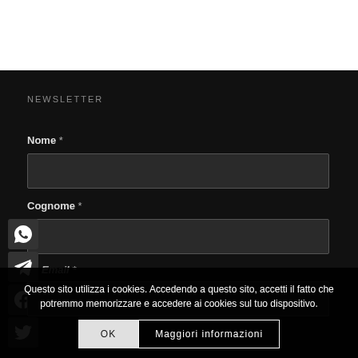NEWSLETTER
Nome *
Cognome *
Email *
Questo sito utilizza i cookies. Accedendo a questo sito, accetti il fatto che potremmo memorizzare e accedere ai cookies sul tuo dispositivo.
OK
Maggiori informazioni